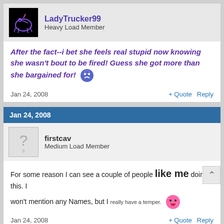LadyTrucker99 — Heavy Load Member
After the fact--i bet she feels real stupid now knowing she wasn't bout to be fired! Guess she got more than she bargained for!
Jan 24, 2008   + Quote   Reply
Jan 24, 2008
firstcav — Medium Load Member
For some reason I can see a couple of people like me doing this. I won't mention any Names, but I really have a temper.
Jan 24, 2008   + Quote   Reply